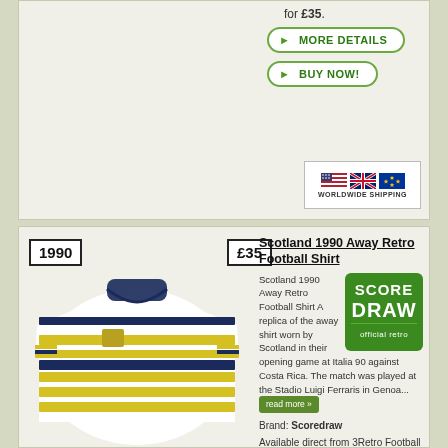for £35.
MORE DETAILS
BUY NOW!
[Figure (other): Worldwide shipping badge with US, UK, and EU flags]
1990
£35
[Figure (photo): Scotland 1990 Away Retro Football Shirt - white with yellow and navy horizontal stripes, navy collar]
Scotland 1990 Away Retro Football Shirt
Scotland 1990 Away Retro Football Shirt A replica of the away shirt worn by Scotland in their opening game at Italia 90 against Costa Rica. The match was played at the Stadio Luigi Ferraris in Genoa...
[Figure (logo): Score Draw official retro logo - green square badge]
Brand: Scoredraw
Available direct from 3Retro Football for £35.
MORE DETAILS
BUY NOW!